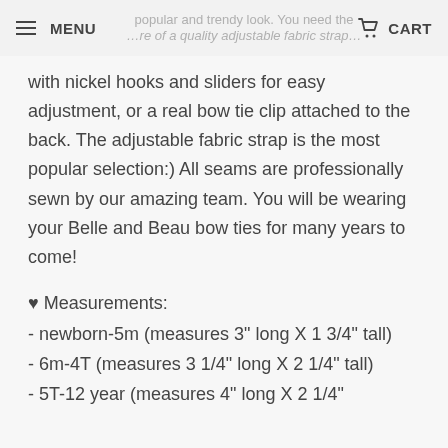MENU | CART
with nickel hooks and sliders for easy adjustment, or a real bow tie clip attached to the back. The adjustable fabric strap is the most popular selection:) All seams are professionally sewn by our amazing team. You will be wearing your Belle and Beau bow ties for many years to come!
♥ Measurements:
- newborn-5m (measures 3" long X 1 3/4" tall)
- 6m-4T (measures 3 1/4" long X 2 1/4" tall)
- 5T-12 year (measures 4" long X 2 1/4"